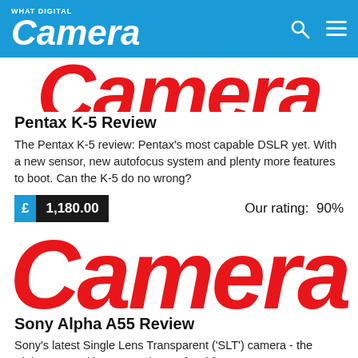What Digital Camera
[Figure (logo): What Digital Camera logo with 'Camera' text in large red italic font on white background, cropped]
Pentax K-5 Review
The Pentax K-5 review: Pentax's most capable DSLR yet. With a new sensor, new autofocus system and plenty more features to boot. Can the K-5 do no wrong?
£ 1,180.00   Our rating:  90%
[Figure (logo): Large red italic 'Camera' text logo on white background]
Sony Alpha A55 Review
Sony's latest Single Lens Transparent ('SLT') camera - the Alpha A55 and its SLR-style autofocal features...